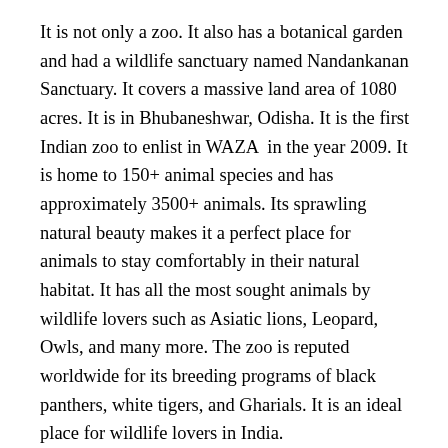It is not only a zoo. It also has a botanical garden and had a wildlife sanctuary named Nandankanan Sanctuary. It covers a massive land area of 1080 acres. It is in Bhubaneshwar, Odisha. It is the first Indian zoo to enlist in WAZA  in the year 2009. It is home to 150+ animal species and has approximately 3500+ animals. Its sprawling natural beauty makes it a perfect place for animals to stay comfortably in their natural habitat. It has all the most sought animals by wildlife lovers such as Asiatic lions, Leopard, Owls, and many more. The zoo is reputed worldwide for its breeding programs of black panthers, white tigers, and Gharials. It is an ideal place for wildlife lovers in India.
7. Arignar Anna Zoological Park, Chennai
At number 7, we have AAZP.  It is located in Vandalur, Chennai, in the Indian state of Tamil Nadu.  It was established in 1855 and is affiliated with the Central